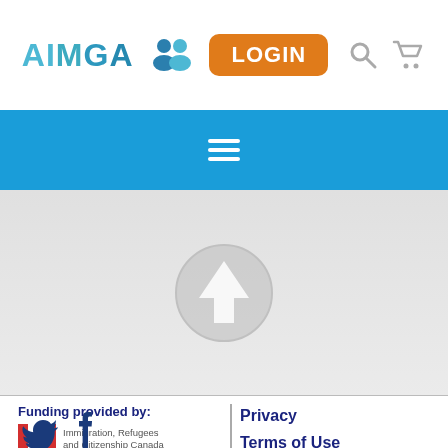AIMGA LOGIN
[Figure (screenshot): AIMGA website header with logo, login button, search and cart icons, and blue navigation bar with hamburger menu]
[Figure (infographic): Scroll-to-top button: light grey circular arrow pointing upward]
Funding provided by:
[Figure (logo): Immigration, Refugees and Citizenship Canada logo with Canadian maple leaf flag]
Privacy
Terms of Use
[Figure (infographic): Twitter and Facebook social media icons in dark blue]